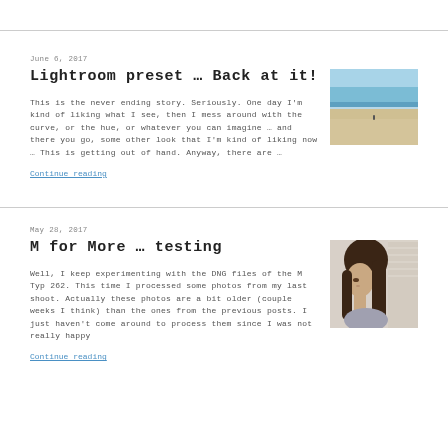June 6, 2017
Lightroom preset … Back at it!
This is the never ending story. Seriously. One day I'm kind of liking what I see, then I mess around with the curve, or the hue, or whatever you can imagine … and there you go, some other look that I'm kind of liking now … This is getting out of hand. Anyway, there are …
Continue reading
[Figure (photo): Beach scene with ocean, sand, and a small distant figure]
May 28, 2017
M for More … testing
Well, I keep experimenting with the DNG files of the M Typ 262. This time I processed some photos from my last shoot. Actually these photos are a bit older (couple weeks I think) than the ones from the previous posts. I just haven't come around to process them since I was not really happy
Continue reading
[Figure (photo): Portrait of a young woman looking sideways near window blinds]